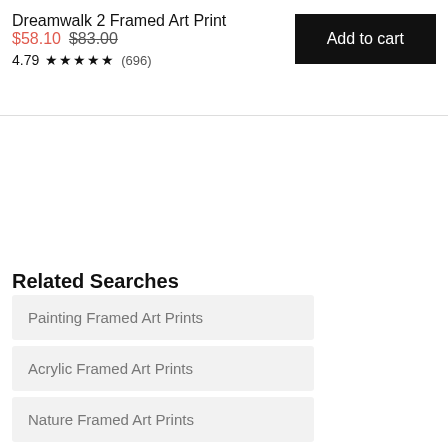Dreamwalk 2 Framed Art Print
$58.10 $83.00
4.79 ★★★★★ (696)
Add to cart
Related Searches
Painting Framed Art Prints
Acrylic Framed Art Prints
Nature Framed Art Prints